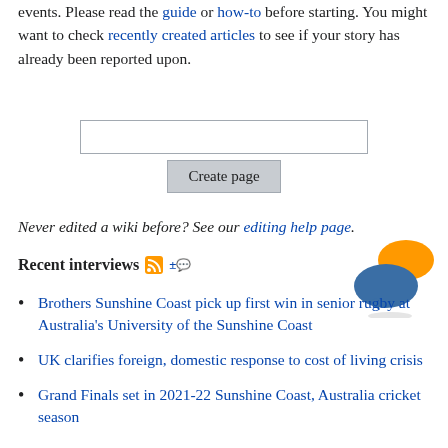events. Please read the guide or how-to before starting. You might want to check recently created articles to see if your story has already been reported upon.
[Figure (other): Text input box (empty)]
[Figure (other): Create page button]
Never edited a wiki before? See our editing help page.
Recent interviews
[Figure (illustration): Two speech bubble icons — orange and blue — overlapping, representing interviews or discussions]
Brothers Sunshine Coast pick up first win in senior rugby at Australia's University of the Sunshine Coast
UK clarifies foreign, domestic response to cost of living crisis
Grand Finals set in 2021-22 Sunshine Coast, Australia cricket season